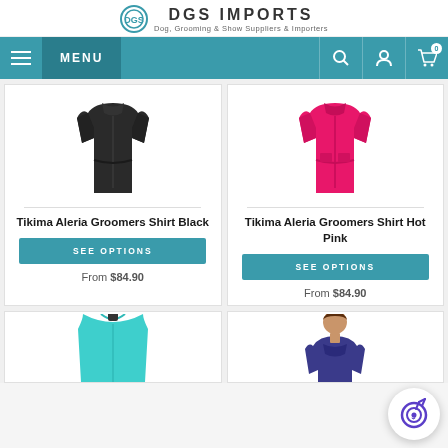DGS IMPORTS - Dog, Grooming & Show Suppliers & Importers
[Figure (screenshot): Navigation bar with hamburger menu, MENU text, search icon, account icon, cart icon on teal background]
[Figure (photo): Tikima Aleria Groomers Shirt Black product photo on white background]
Tikima Aleria Groomers Shirt Black
SEE OPTIONS
From $84.90
[Figure (photo): Tikima Aleria Groomers Shirt Hot Pink product photo on white background]
Tikima Aleria Groomers Shirt Hot Pink
SEE OPTIONS
From $84.90
[Figure (photo): Teal grooming shirt on mannequin, partially visible]
[Figure (photo): Person wearing grooming shirt, partially visible]
[Figure (logo): Floating circular badge with target/goal icon in purple]